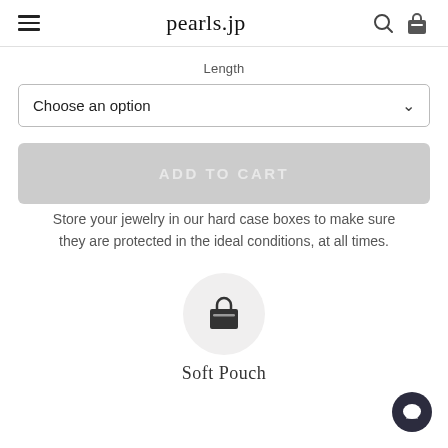pearls.jp
Length
Choose an option
ADD TO CART
Store your jewelry in our hard case boxes to make sure they are protected in the ideal conditions, at all times.
[Figure (illustration): Shopping bag icon inside a light gray circle]
Soft Pouch